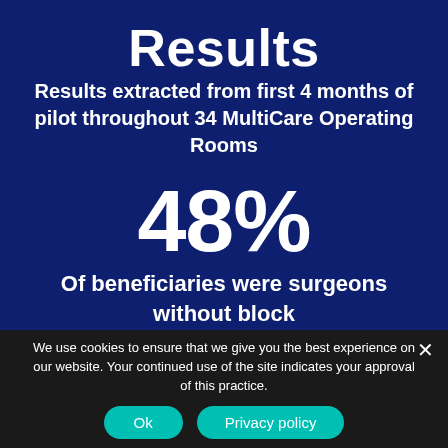Results
Results extracted from first 4 months of pilot throughout 34 MultiCare Operating Rooms
48%
Of beneficiaries were surgeons without block
We use cookies to ensure that we give you the best experience on our website. Your continued use of the site indicates your approval of this practice.
Ok
Privacy policy